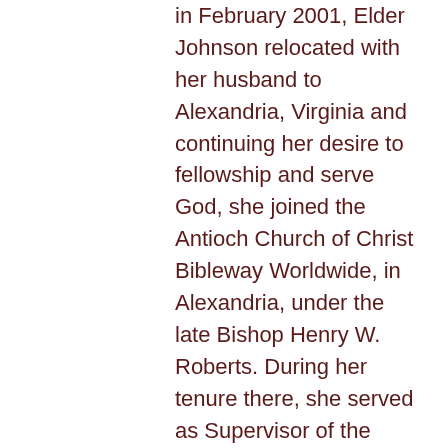in February 2001, Elder Johnson relocated with her husband to Alexandria, Virginia and continuing her desire to fellowship and serve God, she joined the Antioch Church of Christ Bibleway Worldwide, in Alexandria, under the late Bishop Henry W. Roberts. During her tenure there, she served as Supervisor of the Youth Department and Treasurer of the Ministers and Elders Committee.  On July 7, 2001, she was ordained as an Elder of the Gospel of our Lord Jesus Christ by Presiding Bishop Lawrence George Campbell, Bible Way Church of Our Lord Jesus Christ World Wide, Inc.
After relocating back to Greensboro in 2006, she joined Friendship Missionary Baptist Church in Thomasville, North...